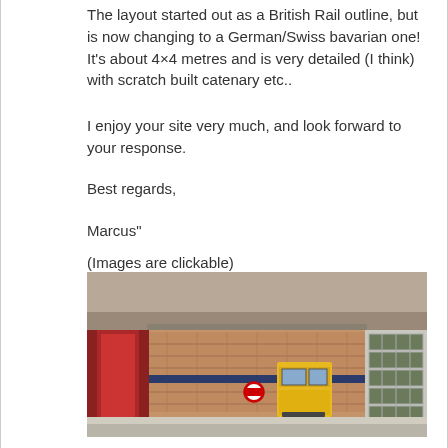The layout started out as a British Rail outline, but is now changing to a German/Swiss bavarian one! It's about 4×4 metres and is very detailed (I think) with scratch built catenary etc..
I enjoy your site very much, and look forward to your response.
Best regards,
Marcus"
(Images are clickable)
[Figure (photo): A model railway layout photograph showing a miniature train station scene with brick buildings, a yellow locomotive, red columns, and a London Underground roundel sign. The scene is viewed from a low angle showing overhead structures.]